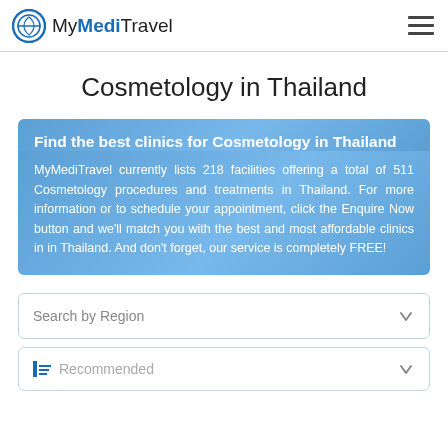MyMediTravel
Cosmetology in Thailand
Find the best clinics for Cosmetology in Thailand
MyMediTravel currently lists 218 facilities offering a total of 511 Cosmetology procedures and treatments in Thailand. For more information or to schedule your appointment, click the Enquire Now button and we'll match you with the best and most affordable clinics in in Thailand. And don't forget, our service is completely FREE!
Search by Region
Recommended